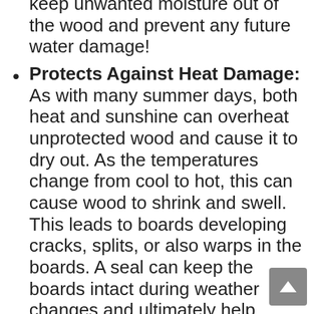keep unwanted moisture out of the wood and prevent any future water damage!
Protects Against Heat Damage: As with many summer days, both heat and sunshine can overheat unprotected wood and cause it to dry out. As the temperatures change from cool to hot, this can cause wood to shrink and swell. This leads to boards developing cracks, splits, or also warps in the boards. A seal can keep the boards intact during weather changes and ultimately help prevent continuous repairs!
Protects Against Environmental Damage: Many times during a storm or even windy days, organic matter (such as leaves, dirt, and/or sticks) can both damage and/or stain a deck that is